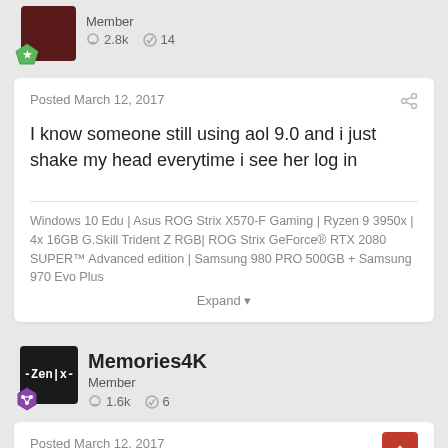Member
💬 2.8k  ✔ 14
Posted March 12, 2017
I know someone still using aol 9.0 and i just shake my head everytime i see her log in
Windows 10 Edu | Asus ROG Strix X570-F Gaming | Ryzen 9 3950x | 4x 16GB G.Skill Trident Z RGB| ROG Strix GeForce® RTX 2080 SUPER™ Advanced edition | Samsung 980 PRO 500GB + Samsung 970 Evo Plus
Expand ▾
Memories4K
Member
💬 1.6k  ✔ 6
Posted March 12, 2017